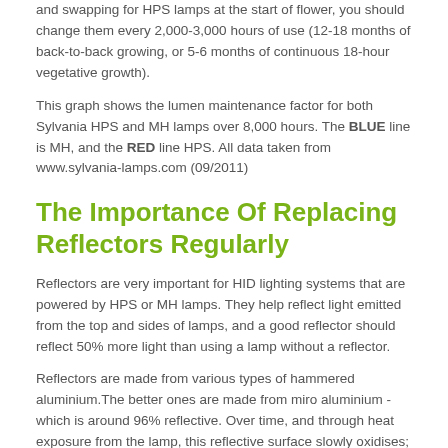and swapping for HPS lamps at the start of flower, you should change them every 2,000-3,000 hours of use (12-18 months of back-to-back growing, or 5-6 months of continuous 18-hour vegetative growth).
This graph shows the lumen maintenance factor for both Sylvania HPS and MH lamps over 8,000 hours. The BLUE line is MH, and the RED line HPS. All data taken from www.sylvania-lamps.com (09/2011)
The Importance Of Replacing Reflectors Regularly
Reflectors are very important for HID lighting systems that are powered by HPS or MH lamps. They help reflect light emitted from the top and sides of lamps, and a good reflector should reflect 50% more light than using a lamp without a reflector.
Reflectors are made from various types of hammered aluminium.The better ones are made from miro aluminium - which is around 96% reflective. Over time, and through heat exposure from the lamp, this reflective surface slowly oxidises; resulting in a significant drop in reflectivity. Data from the Dutch lighting manufacturer, GAVITA Holland, shows that even high quality miro aluminium will lose approximately 1% of reflectivity for every 1,000 hours the light is on – this is in a clean greenhouse environment! Unfortunately for us, indoor